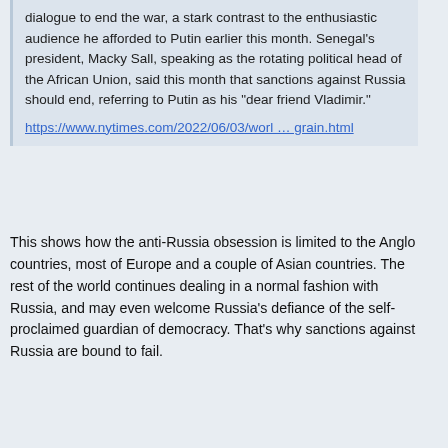dialogue to end the war, a stark contrast to the enthusiastic audience he afforded to Putin earlier this month. Senegal's president, Macky Sall, speaking as the rotating political head of the African Union, said this month that sanctions against Russia should end, referring to Putin as his "dear friend Vladimir."
https://www.nytimes.com/2022/06/03/worl … grain.html
This shows how the anti-Russia obsession is limited to the Anglo countries, most of Europe and a couple of Asian countries. The rest of the world continues dealing in a normal fashion with Russia, and may even welcome Russia's defiance of the self-proclaimed guardian of democracy. That's why sanctions against Russia are bound to fail.
SteveFoerster
Re: Fact Not Propaganda (2)
Thu Jun 23, 2022 5:33 am
Again, okay sources, but your conclusions aren't supported by them. Many African countries are kleptocracies in which Russian influence tends to be...